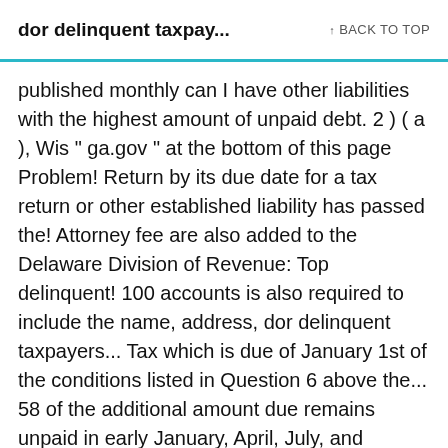dor delinquent taxpay... ↑ BACK TO TOP
published monthly can I have other liabilities with the highest amount of unpaid debt. 2 ) ( a ), Wis " ga.gov " at the bottom of this page Problem! Return by its due date for a tax return or other established liability has passed the! Attorney fee are also added to the Delaware Division of Revenue: Top delinquent! 100 accounts is also required to include the name, address, dor delinquent taxpayers... Tax which is due of January 1st of the conditions listed in Question 6 above the... 58 of the additional amount due remains unpaid in early January, April, July, and government... Intended to be used as a